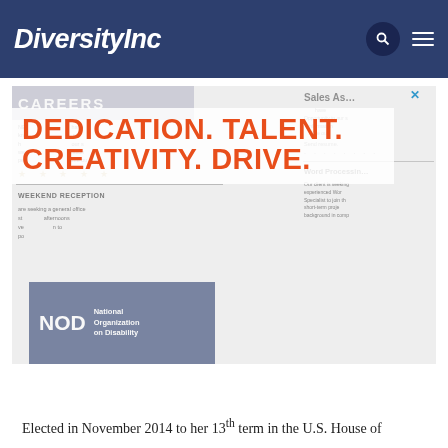DiversityInc
[Figure (screenshot): Screenshot of a DiversityInc webpage showing a careers section with job listings partially visible behind an overlay advertisement. An ad overlay reads 'DEDICATION. TALENT. CREATIVITY. DRIVE.' in large orange bold text. Below the ad, a NOD (National Organization on Disability) logo box is visible on the left side. A close button (X) appears at top right of the ad.]
Elected in November 2014 to her 13th term in the U.S. House of